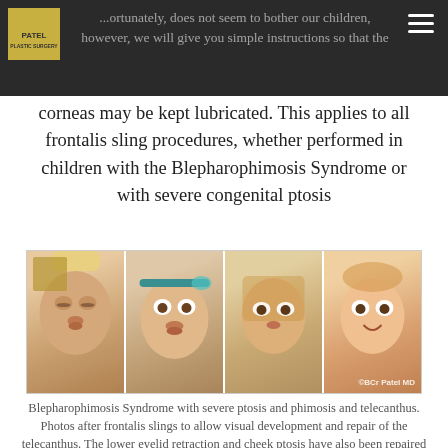...ortunately, does not seem to bother our children, however, we will give you simple instructions so that the
corneas may be kept lubricated. This applies to all frontalis sling procedures, whether performed in children with the Blepharophimosis Syndrome or with severe congenital ptosis
[Figure (photo): Four photographs of children showing Blepharophimosis Syndrome with severe ptosis before and after frontalis sling surgery. Watermark reads: ©BCr Patel MD]
Blepharophimosis Syndrome with severe ptosis and phimosis and telecanthus. Photos after frontalis slings to allow visual development and repair of the telecanthus. The lower eyelid retraction and cheek ptosis have also been repaired